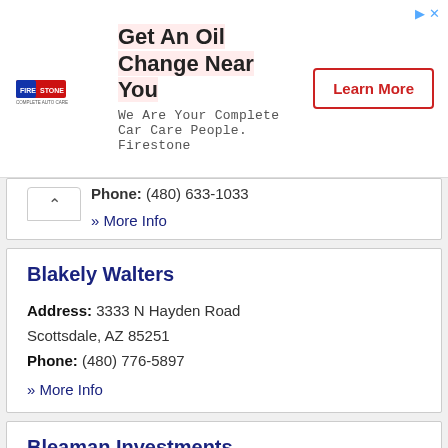[Figure (other): Firestone advertisement banner: logo on left, headline 'Get An Oil Change Near You', subtext 'We Are Your Complete Car Care People. Firestone', and a 'Learn More' button on the right.]
Phone: (480) 633-1033
» More Info
Blakely Walters
Address: 3333 N Hayden Road Scottsdale, AZ 85251
Phone: (480) 776-5897
» More Info
Bleaman Investments
Address: 9934 E Buteo Drive